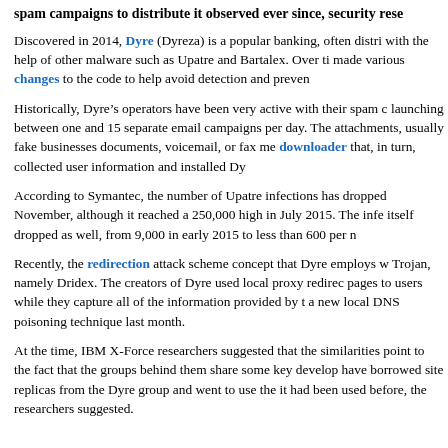spam campaigns to distribute it observed ever since, security rese...
Discovered in 2014, Dyre (Dyreza) is a popular banking, often distri... with the help of other malware such as Upatre and Bartalex. Over ti... made various changes to the code to help avoid detection and preven...
Historically, Dyre’s operators have been very active with their spam c... launching between one and 15 separate email campaigns per day. The... attachments, usually fake businesses documents, voicemail, or fax m... downloader that, in turn, collected user information and installed Dy...
According to Symantec, the number of Upatre infections has droppe... November, although it reached a 250,000 high in July 2015. The infe... itself dropped as well, from 9,000 in early 2015 to less than 600 per n...
Recently, the redirection attack scheme concept that Dyre employs w... Trojan, namely Dridex. The creators of Dyre used local proxy redirec... pages to users while they capture all of the information provided by t... a new local DNS poisoning technique last month.
At the time, IBM X-Force researchers suggested that the similarities... point to the fact that the groups behind them share some key develop... have borrowed site replicas from the Dyre group and went to use the... it had been used before, the researchers suggested.